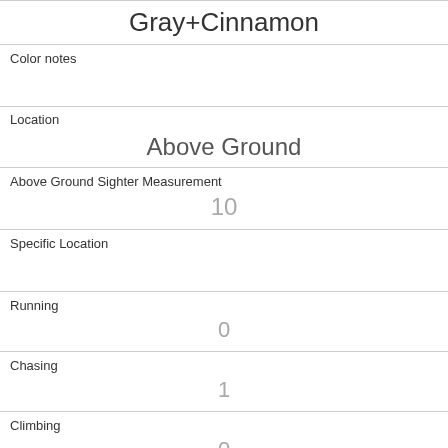| Gray+Cinnamon |
| Color notes |  |
| Location | Above Ground |
| Above Ground Sighter Measurement | 10 |
| Specific Location |  |
| Running | 0 |
| Chasing | 1 |
| Climbing | 0 |
| Eating | 0 |
| Foraging | 0 |
| Other Activities |  |